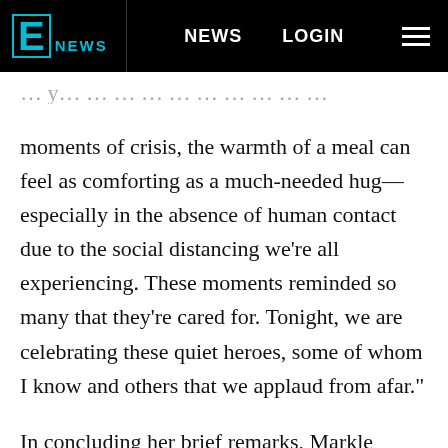E NEWS  NEWS  LOGIN
moments of crisis, the warmth of a meal can feel as comforting as a much-needed hug— especially in the absence of human contact due to the social distancing we're all experiencing. These moments reminded so many that they're cared for. Tonight, we are celebrating these quiet heroes, some of whom I know and others that we applaud from afar."
In concluding her brief remarks, Markle ended on an uplifting note. "These individuals stood up and made sure the most basic needs of our communities were met. They made sure that those around them did